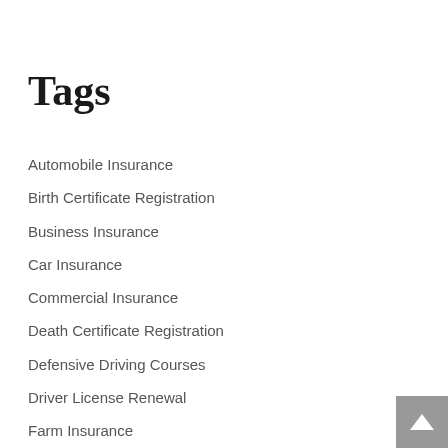Tags
Automobile Insurance
Birth Certificate Registration
Business Insurance
Car Insurance
Commercial Insurance
Death Certificate Registration
Defensive Driving Courses
Driver License Renewal
Farm Insurance
Home Insurance
Insurance Agents
Insurance Brokers